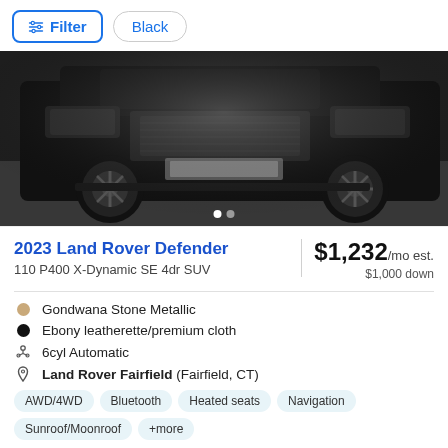Filter | Black
[Figure (photo): Front view of a black Land Rover Defender SUV against a light background, cropped to show the front grille and wheels]
2023 Land Rover Defender
110 P400 X-Dynamic SE 4dr SUV
$1,232/mo est. $1,000 down
Gondwana Stone Metallic
Ebony leatherette/premium cloth
6cyl Automatic
Land Rover Fairfield (Fairfield, CT)
AWD/4WD  Bluetooth  Heated seats  Navigation  Sunroof/Moonroof  +more